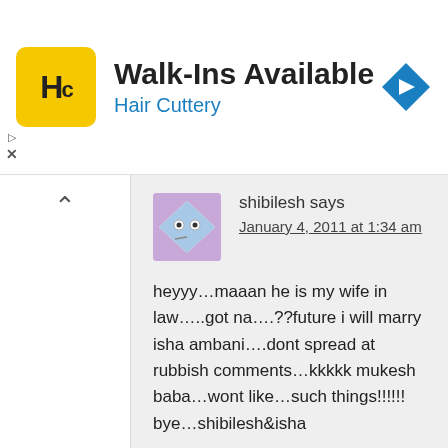[Figure (screenshot): Hair Cuttery advertisement banner with yellow HC logo, 'Walk-Ins Available' heading, 'Hair Cuttery' subtitle in blue, and a blue navigation diamond icon]
shibilesh says
January 4, 2011 at 1:34 am
heyyy…maaan he is my wife in law…..got na….??future i will marry isha ambani….dont spread at rubbish comments…kkkkk mukesh baba…wont like…such things!!!!!
bye…shibilesh&isha
Reply